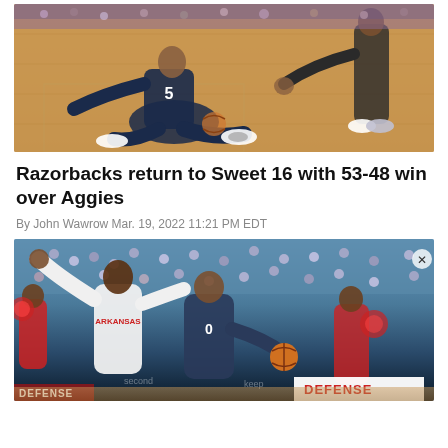[Figure (photo): Basketball game photo showing a player (number 5) on the floor scrambling for the ball with opponents around them, on a hardwood court.]
Razorbacks return to Sweet 16 with 53-48 win over Aggies
By John Wawrow Mar. 19, 2022 11:21 PM EDT
[Figure (photo): Basketball game action photo showing players competing for the ball, with cheerleaders visible and a DEFENSE banner in the background, arena crowd filling the seats.]